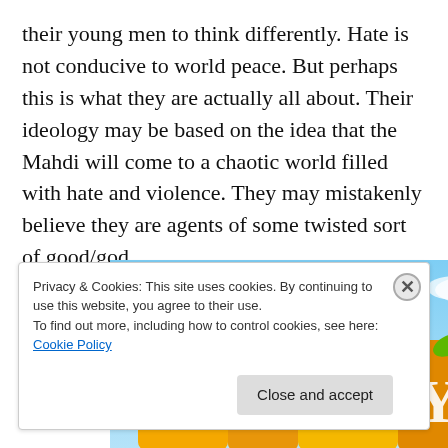their young men to think differently. Hate is not conducive to world peace. But perhaps this is what they are actually all about. Their ideology may be based on the idea that the Mahdi will come to a chaotic world filled with hate and violence. They may mistakenly believe they are agents of some twisted sort of good/god.
[Figure (illustration): Colorful illustration of the word PRAY with large yellow/orange block letters decorated with green leaves against a blue sky background.]
Privacy & Cookies: This site uses cookies. By continuing to use this website, you agree to their use.
To find out more, including how to control cookies, see here: Cookie Policy
[Close and accept]